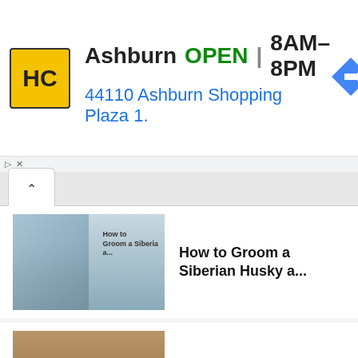[Figure (screenshot): Advertisement banner for HC store in Ashburn showing logo, OPEN status, hours 8AM-8PM, address 44110 Ashburn Shopping Plaza 1., and navigation arrow icon]
How to Groom a Siberian Husky a...
Husky Puppy – Feeding Guide
Potty Training a Husky Puppy in j...
Siberian Huskies – Blowing the coat